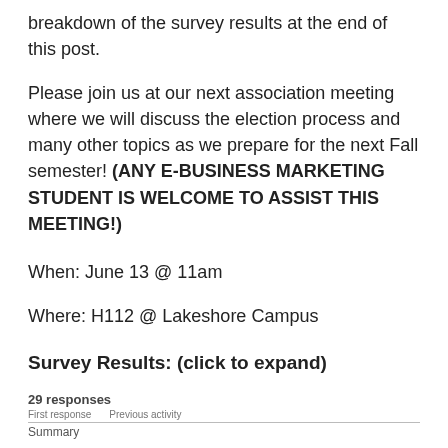breakdown of the survey results at the end of this post.
Please join us at our next association meeting where we will discuss the election process and many other topics as we prepare for the next Fall semester! (ANY E-BUSINESS MARKETING STUDENT IS WELCOME TO ASSIST THIS MEETING!)
When: June 13 @ 11am
Where: H112 @ Lakeshore Campus
Survey Results: (click to expand)
29 responses
Summary